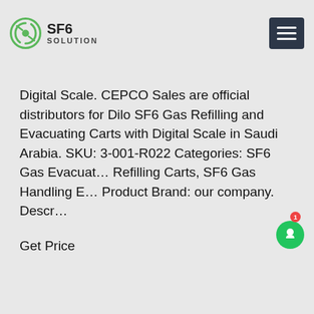SF6 SOLUTION
Digital Scale. CEPCO Sales are official distributors for Dilo SF6 Gas Refilling and Evacuating Carts with Digital Scale in Saudi Arabia. SKU: 3-001-R022 Categories: SF6 Gas Evacuating and Refilling Carts, SF6 Gas Handling Equipment. Product Brand: our company. Description
Get Price
[Figure (screenshot): Chat popup overlay with message: 'we can send you catalogue and price list for you choosing. Leave us your email or whatsapp .' with SF6 Expert avatar and just now timestamp, write a message input area with like and attachment icons.]